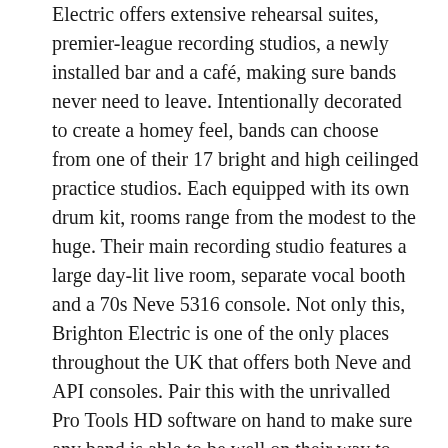Electric offers extensive rehearsal suites, premier-league recording studios, a newly installed bar and a café, making sure bands never need to leave. Intentionally decorated to create a homey feel, bands can choose from one of their 17 bright and high ceilinged practice studios. Each equipped with its own drum kit, rooms range from the modest to the huge. Their main recording studio features a large day-lit live room, separate vocal booth and a 70s Neve 5316 console. Not only this, Brighton Electric is one of the only places throughout the UK that offers both Neve and API consoles. Pair this with the unrivalled Pro Tools HD software on hand to make sure any band is able to be well on their way to recording authentic and coherent sounds. Not only this, Brighton Electric offers the space for bands to meet managers and begin networking; building the relationships that are crucial within the music industry.